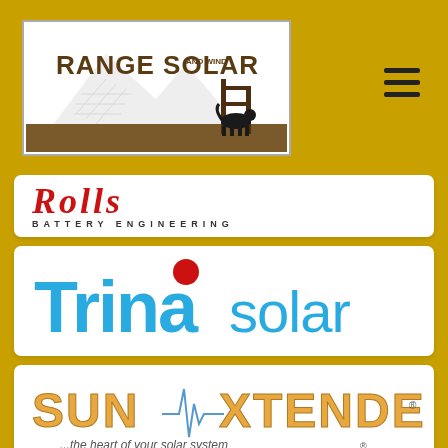[Figure (logo): Range Solar and Wind logo — white box with mountain/solar panel silhouette and fence with dog silhouette]
[Figure (logo): Hamburger menu icon (three horizontal lines)]
[Figure (logo): Rolls Battery Engineering logo — red cursive Rolls text above BATTERY ENGINEERING in spaced capitals]
[Figure (logo): Trina Solar logo — blue bold Trina with red dot over i, followed by 'solar' in lighter blue]
[Figure (logo): SunXtender logo — orange block letters SUN XTENDER with heartbeat line, tagline '...the heart of your solar system®']
[Figure (logo): Partially visible brand card at bottom of page]